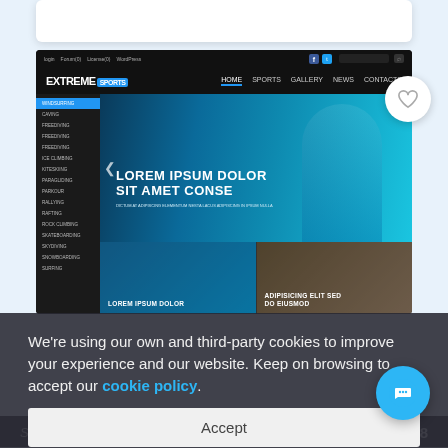[Figure (screenshot): Screenshot of 'EXTREME SPORTS' website theme showing a dark-themed sports website with navigation bar, hero image of a surfer with text 'LOREM IPSUM DOLOR SIT AMET CONSE', sidebar sports categories, and thumbnail images with labels 'LOREM IPSUM DOLOR' and 'ADIPISICING ELIT SED DO EIUSMOD']
We're using our own and third-party cookies to improve your experience and our website. Keep on browsing to accept our cookie policy.
Accept
Sales: 82
$88